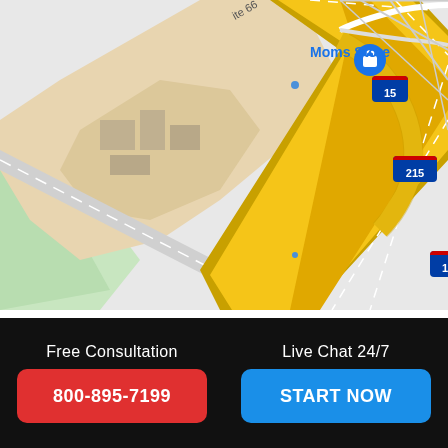[Figure (map): Google Maps view showing Interstate 15 and Interstate 215 freeway interchange near Moms Store location marker. Yellow highway lines cross diagonally with green park area bottom-left and city grid top-right. Route 66 label visible top. Shield markers for I-15 and I-215.]
Free Consultation
800-895-7199
Live Chat 24/7
START NOW